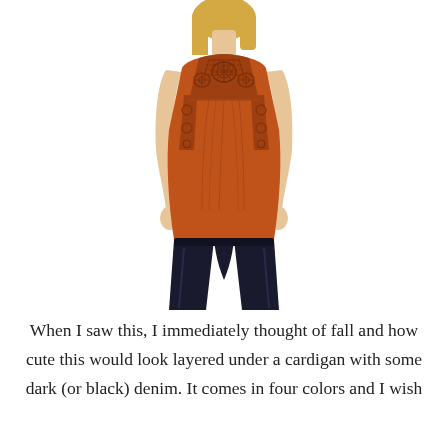[Figure (photo): A woman wearing a burnt orange/rust colored sleeveless top with lace detailing on the chest and sides, paired with dark black jeans. The photo is cropped showing from the neck/shoulders down to mid-thigh against a white background.]
When I saw this, I immediately thought of fall and how cute this would look layered under a cardigan with some dark (or black) denim. It comes in four colors and I wish